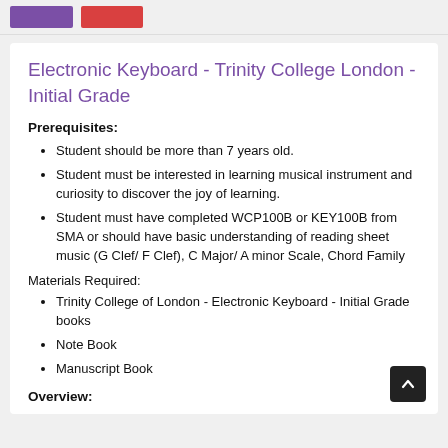[navigation buttons]
Electronic Keyboard - Trinity College London - Initial Grade
Prerequisites:
Student should be more than 7 years old.
Student must be interested in learning musical instrument and curiosity to discover the joy of learning.
Student must have completed WCP100B or KEY100B from SMA or should have basic understanding of reading sheet music (G Clef/ F Clef), C Major/ A minor Scale, Chord Family
Materials Required:
Trinity College of London - Electronic Keyboard - Initial Grade books
Note Book
Manuscript Book
Overview: